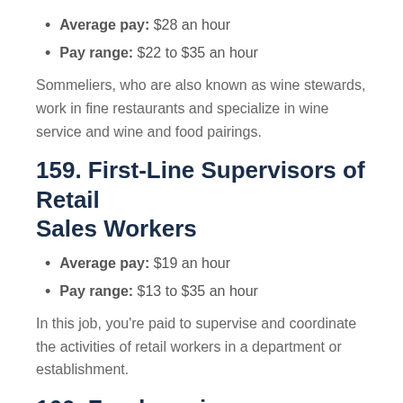Average pay: $28 an hour
Pay range: $22 to $35 an hour
Sommeliers, who are also known as wine stewards, work in fine restaurants and specialize in wine service and wine and food pairings.
159. First-Line Supervisors of Retail Sales Workers
Average pay: $19 an hour
Pay range: $13 to $35 an hour
In this job, you're paid to supervise and coordinate the activities of retail workers in a department or establishment.
160. Food service manager
Average pay: $27 an hour